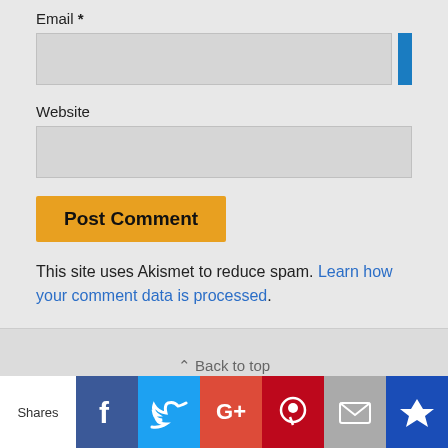Email *
[Figure (screenshot): Email input field (light gray box) with blue bar on right edge]
Website
[Figure (screenshot): Website input field (light gray box)]
[Figure (screenshot): Post Comment button (orange/gold background)]
This site uses Akismet to reduce spam. Learn how your comment data is processed.
Back to top
[Figure (screenshot): Mobile / Desktop tab switcher and social share bar with Facebook, Twitter, Google+, Pinterest, Email, and crown icon buttons]